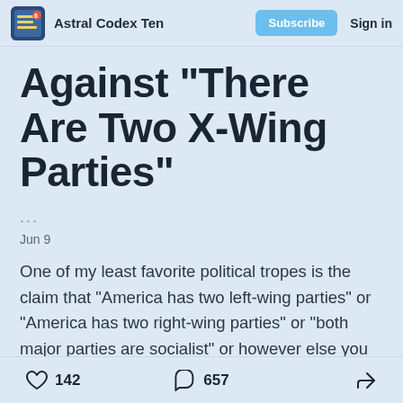Astral Codex Ten  Subscribe  Sign in
Against "There Are Two X-Wing Parties"
...
Jun 9
One of my least favorite political tropes is the claim that "America has two left-wing parties" or "America has two right-wing parties" or "both major parties are socialist" or however else you want frame this. The
142 likes  657 comments  share